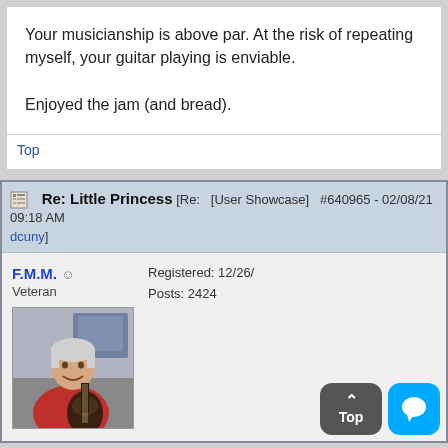Your musicianship is above par. At the risk of repeating myself, your guitar playing is enviable.

Enjoyed the jam (and bread).
Top
Re: Little Princess [Re: [User Showcase] #640965 - 02/08/21 09:18 AM dcuny]
F.M.M. ☺
Veteran
Registered: 12/26/...
Posts: 2424
[Figure (photo): Profile photo of user F.M.M., an older man with gray hair smiling, wearing a red shirt and holding a guitar.]